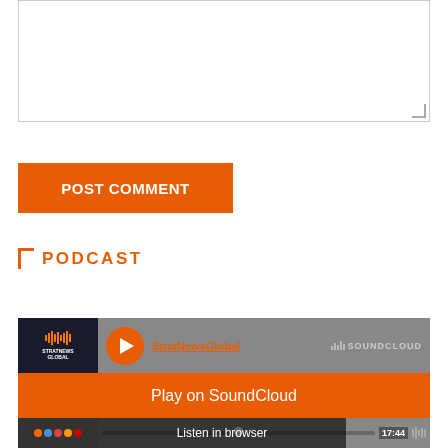[Figure (screenshot): Text area input box with resize handle in bottom-right corner]
POST COMMENT
PODCAST
[Figure (screenshot): SoundCloud embedded widget showing StratNewsGlobal podcast with Play on SoundCloud and Listen in browser buttons, time 17:44]